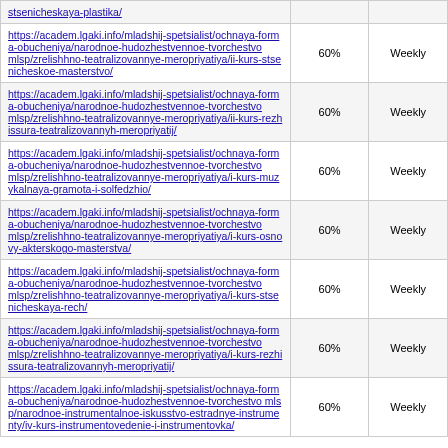| stsenicheskaya-plastika/ | 60% | Weekly |
| https://academ.lgaki.info/mladshij-spetsialist/ochnaya-forma-obucheniya/narodnoe-hudozhestvennoe-tvorchestvo mlsp/zrelishhno-teatralizovannye-meropriyatiya/ii-kurs-stsenicheskoe-masterstvo/ | 60% | Weekly |
| https://academ.lgaki.info/mladshij-spetsialist/ochnaya-forma-obucheniya/narodnoe-hudozhestvennoe-tvorchestvo mlsp/zrelishhno-teatralizovannye-meropriyatiya/ii-kurs-rezhissura-teatralizovannyh-meropriyatij/ | 60% | Weekly |
| https://academ.lgaki.info/mladshij-spetsialist/ochnaya-forma-obucheniya/narodnoe-hudozhestvennoe-tvorchestvo mlsp/zrelishhno-teatralizovannye-meropriyatiya/i-kurs-muzykalnaya-gramota-i-solfedzhio/ | 60% | Weekly |
| https://academ.lgaki.info/mladshij-spetsialist/ochnaya-forma-obucheniya/narodnoe-hudozhestvennoe-tvorchestvo mlsp/zrelishhno-teatralizovannye-meropriyatiya/i-kurs-osnovy-akterskogo-masterstva/ | 60% | Weekly |
| https://academ.lgaki.info/mladshij-spetsialist/ochnaya-forma-obucheniya/narodnoe-hudozhestvennoe-tvorchestvo mlsp/zrelishhno-teatralizovannye-meropriyatiya/i-kurs-stsenicheskaya-rech/ | 60% | Weekly |
| https://academ.lgaki.info/mladshij-spetsialist/ochnaya-forma-obucheniya/narodnoe-hudozhestvennoe-tvorchestvo mlsp/zrelishhno-teatralizovannye-meropriyatiya/i-kurs-rezhissura-teatralizovannyh-meropriyatij/ | 60% | Weekly |
| https://academ.lgaki.info/mladshij-spetsialist/ochnaya-forma-obucheniya/narodnoe-hudozhestvennoe-tvorchestvo mlsp/narodnoe-instrumentalnoe-iskusstvo-estradnye-instrumenty/iv-kurs-instrumentovedenie-i-instrumentovka/ | 60% | Weekly |